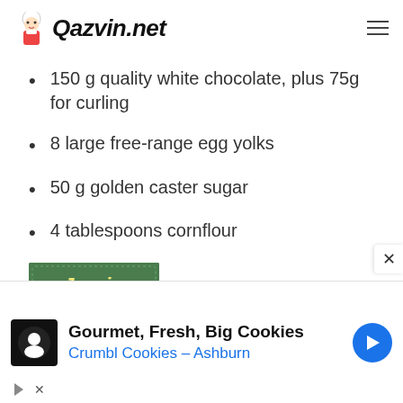Qazvin.net
150 g quality white chocolate, plus 75g for curling
8 large free-range egg yolks
50 g golden caster sugar
4 tablespoons cornflour
[Figure (logo): Jamie & Jimmy's logo on green background]
Recipe Fr...
[Figure (screenshot): Advertisement: Gourmet, Fresh, Big Cookies - Crumbl Cookies - Ashburn]